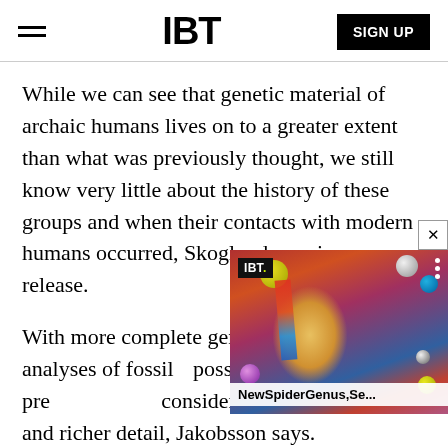IBT
While we can see that genetic material of archaic humans lives on to a greater extent than what was previously thought, we still know very little about the history of these groups and when their contacts with modern humans occurred, Skoglund says in a press release.
With more complete genom and more analyses of fossil possible to describe our pre considerably greater accuracy and richer detail, Jakobsson says.
[Figure (screenshot): IBT video popup showing a person with dramatic face paint, with label 'NewSpiderGenus,Se...']